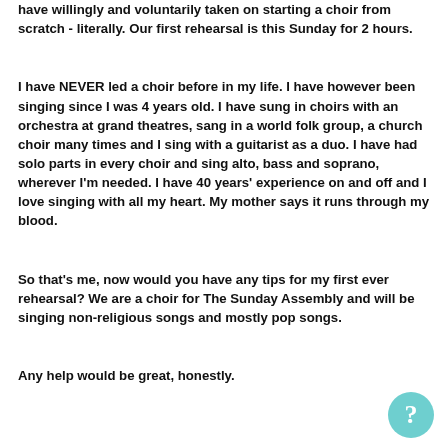have willingly and voluntarily taken on starting a choir from scratch - literally. Our first rehearsal is this Sunday for 2 hours.
I have NEVER led a choir before in my life. I have however been singing since I was 4 years old. I have sung in choirs with an orchestra at grand theatres, sang in a world folk group, a church choir many times and I sing with a guitarist as a duo. I have had solo parts in every choir and sing alto, bass and soprano, wherever I'm needed. I have 40 years' experience on and off and I love singing with all my heart. My mother says it runs through my blood.
So that's me, now would you have any tips for my first ever rehearsal? We are a choir for The Sunday Assembly and will be singing non-religious songs and mostly pop songs.
Any help would be great, honestly.